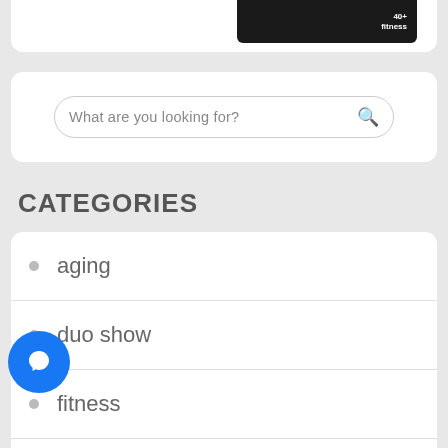[Figure (screenshot): Partial top card showing a fitness website banner image with '40+ fitness' text on dark background]
What are you looking for?
CATEGORIES
aging
duo show
fitness
general
[Figure (logo): Facebook Messenger floating button icon (blue circle with white lightning bolt chat icon)]